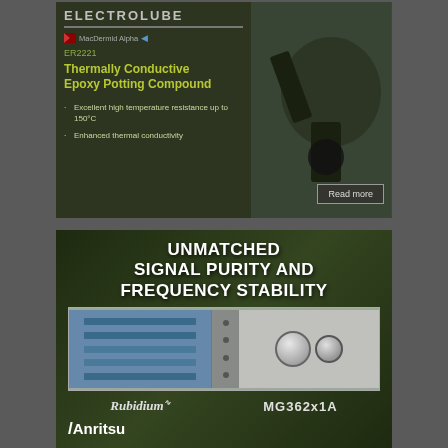[Figure (illustration): Electrolube / MacDermid Alpha advertisement for Thermally Conductive Epoxy Potting Compound (ER2221). Features logo, product code, product title, bullet points about high temperature resistance up to 150°C and enhanced thermal conductivity, with a Read more button. Right side shows product/application image.]
[Figure (illustration): Anritsu advertisement featuring Rubidium MG362x1A signal generator. Text reads 'UNMATCHED SIGNAL PURITY AND FREQUENCY STABILITY'. Shows device image with screen and knobs, Rubidium and MG362x1A labels, and Anritsu logo.]